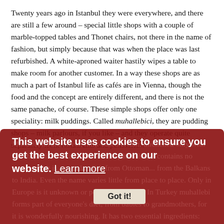Twenty years ago in Istanbul they were everywhere, and there are still a few around – special little shops with a couple of marble-topped tables and Thonet chairs, not there in the name of fashion, but simply because that was when the place was last refurbished. A white-aproned waiter hastily wipes a table to make room for another customer. In a way these shops are as much a part of Istanbul life as cafés are in Vienna, though the food and the concept are entirely different, and there is not the same panache, of course. These simple shops offer only one speciality: milk puddings. Called muhallebici, they are pudding shops – milk parlours, if you like – and they operate quite separately from restaurants and patisseries.
Muhallebici are sweet, milk-based cream, thickened only with starch (unlike custards and crème pâtissière, it contains no eggs), and it is a popular dish from Ottoman... from the Balkans to India. Even the name varies little from place to place. Only in Europe is it unknown or perhaps forgotten. In Turkey muhallebi forms part of everyone's diet, from babies to grandmothers, for it is wonderfully nourishing. It has two essential ingredients: pure starch – whether from the flour of rice
This website uses cookies to ensure you get the best experience on our website. Learn more
Got it!